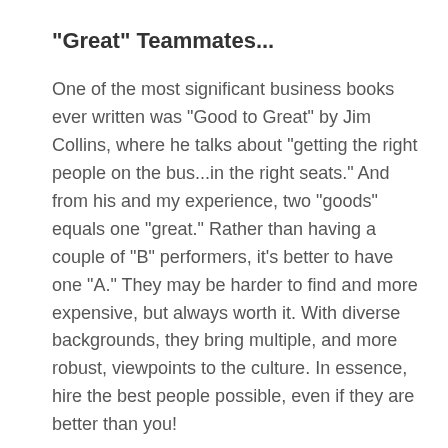"Great" Teammates...
One of the most significant business books ever written was "Good to Great" by Jim Collins, where he talks about "getting the right people on the bus...in the right seats." And from his and my experience, two "goods" equals one "great." Rather than having a couple of "B" performers, it's better to have one "A." They may be harder to find and more expensive, but always worth it. With diverse backgrounds, they bring multiple, and more robust, viewpoints to the culture. In essence, hire the best people possible, even if they are better than you!